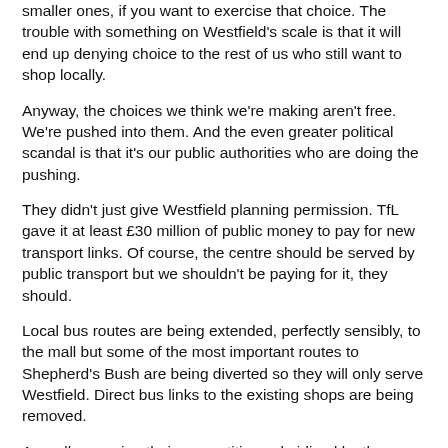smaller ones, if you want to exercise that choice. The trouble with something on Westfield's scale is that it will end up denying choice to the rest of us who still want to shop locally.
Anyway, the choices we think we're making aren't free. We're pushed into them. And the even greater political scandal is that it's our public authorities who are doing the pushing.
They didn't just give Westfield planning permission. TfL gave it at least £30 million of public money to pay for new transport links. Of course, the centre should be served by public transport but we shouldn't be paying for it, they should.
Local bus routes are being extended, perfectly sensibly, to the mall but some of the most important routes to Shepherd's Bush are being diverted so they will only serve Westfield. Direct bus links to the existing shops are being removed.
As well as seeing their competition subsidised by the taxpayer and their customers chauffeured, at public expense, in the opposite direction, some stallholders at Shepherd's Bush market have faced rent hikes of up to 200 per cent this year. Their landlord is TfL.
Above all, every small shop and restaurant to the east of the